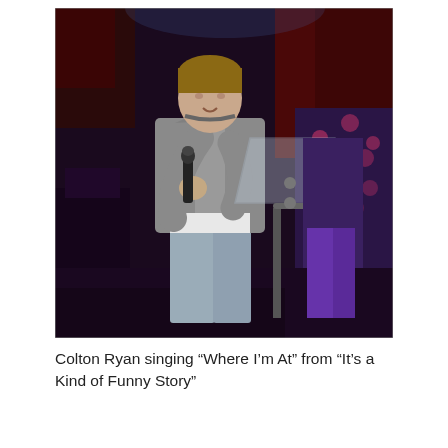[Figure (photo): Colton Ryan standing on stage singing into a microphone, wearing a grey hoodie and light jeans, with an acrylic music stand/podium visible to his right. The background is dark with purple/red stage lighting and another performer visible behind him.]
Colton Ryan singing “Where I’m At” from “It’s a Kind of Funny Story”